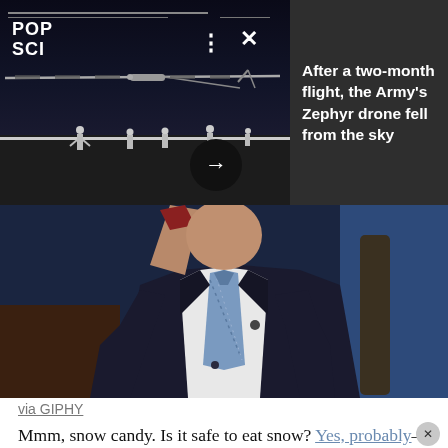[Figure (screenshot): Pop Science drone video thumbnail showing a large drone on a runway with people around it, dark night scene]
After a two-month flight, the Army's Zephyr drone fell from the sky
[Figure (photo): GIF from GIPHY showing a man in a dark suit holding something, talk show setting with blue background]
via GIPHY
Mmm, snow candy. Is it safe to eat snow? Yes, probably—as long as you don't live right next to a busy highway or in an urban area. And even if you live in a grimy city, the recipe below doesn't technically involve eating snow.